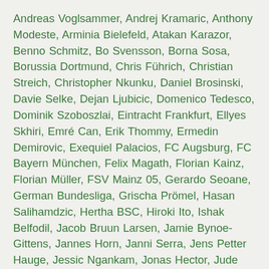Andreas Voglsammer, Andrej Kramaric, Anthony Modeste, Arminia Bielefeld, Atakan Karazor, Benno Schmitz, Bo Svensson, Borna Sosa, Borussia Dortmund, Chris Führich, Christian Streich, Christopher Nkunku, Daniel Brosinski, Davie Selke, Dejan Ljubicic, Domenico Tedesco, Dominik Szoboszlai, Eintracht Frankfurt, Ellyes Skhiri, Emré Can, Erik Thommy, Ermedin Demirovic, Exequiel Palacios, FC Augsburg, FC Bayern München, Felix Magath, Florian Kainz, Florian Müller, FSV Mainz 05, Gerardo Seoane, German Bundesliga, Grischa Prömel, Hasan Salihamdzic, Hertha BSC, Hiroki Ito, Ishak Belfodil, Jacob Bruun Larsen, Jamie Bynoe-Gittens, Jannes Horn, Janni Serra, Jens Petter Hauge, Jessic Ngankam, Jonas Hector, Jude Bellingham, Julian Baumgartlinger, Julian Brandt, Kevin Prince Boateng, Kingsley Ehizibue, Kingsley Schindler, Konstantinos Mavropanos, Luca Kilian, Lucas Alario, Lucas Silva "Tuta" Melo, Lucas Tousart, Marco Reus, Marco Rose, Mark Flekken, Markus Weinzierl, Masaya Okugawa, Niklas Dorsch, Oliver